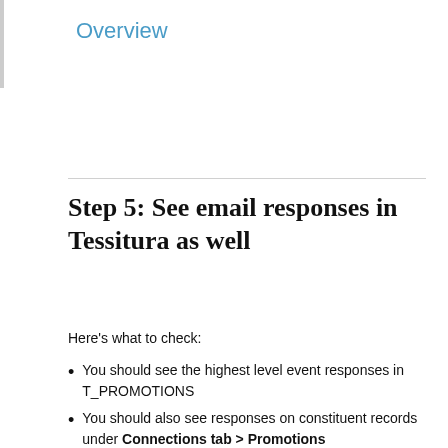Overview
Step 5: See email responses in Tessitura as well
Here's what to check:
You should see the highest level event responses in T_PROMOTIONS
You should also see responses on constituent records under Connections tab > Promotions
You should see the unsubscribe responses handled